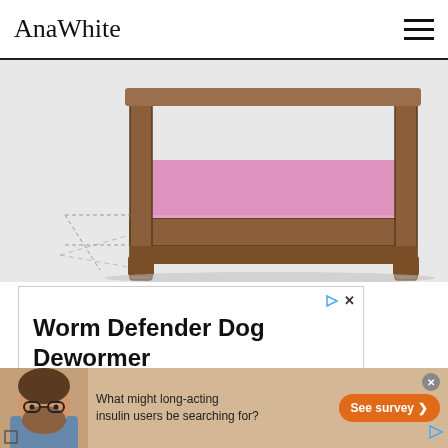AnaWhite
[Figure (illustration): 3D SketchUp rendering of a wooden shelf/bench with pink foam pad on top, shown from a perspective angle with brown wooden legs and frame, pink/lavender cushion surface, and dashed guide lines]
[Figure (screenshot): Advertisement box: 'Worm Defender Dog Dewormer - No Prescription Needed' with play and X icons in top right corner]
[Figure (screenshot): Bottom banner advertisement with bearded man wearing glasses, tan/beige background, text 'What might long-acting insulin users be searching for?' and orange 'See survey >' button]